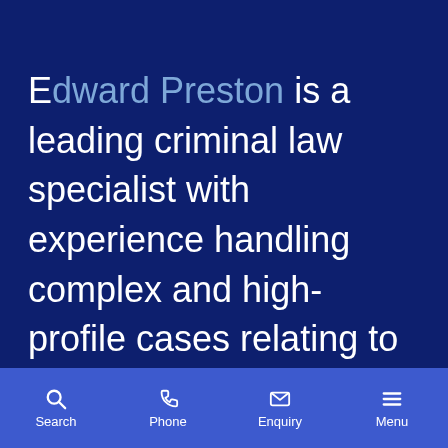Edward Preston is a leading criminal law specialist with experience handling complex and high-profile cases relating to serious and violent offences, including burglary and murder. One source notes: "His attention
Search | Phone | Enquiry | Menu